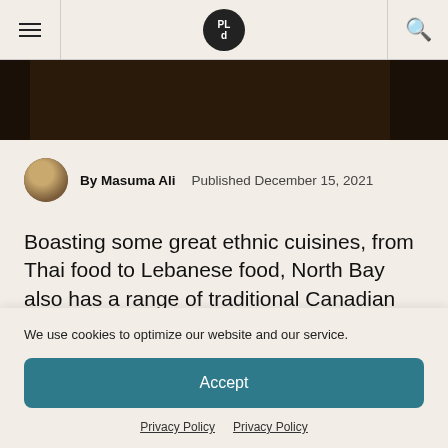PL d [logo] navigation header with hamburger menu and search icon
[Figure (photo): Dark photograph strip showing a restaurant or food scene, partially visible at top of content area]
By Masuma Ali   Published December 15, 2021
Boasting some great ethnic cuisines, from Thai food to Lebanese food, North Bay also has a range of traditional Canadian joints in fine bistro style and craft brewery
We use cookies to optimize our website and our service.
Accept
Privacy Policy   Privacy Policy